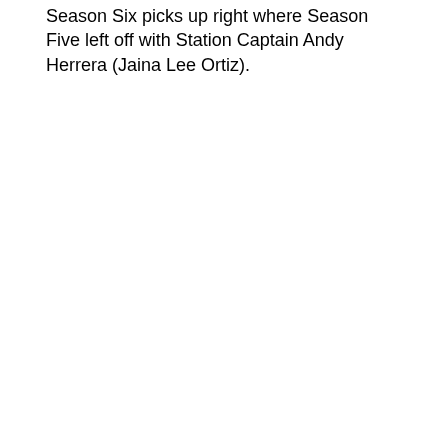Season Six picks up right where Season Five left off with Station Captain Andy Herrera (Jaina Lee Ortiz).